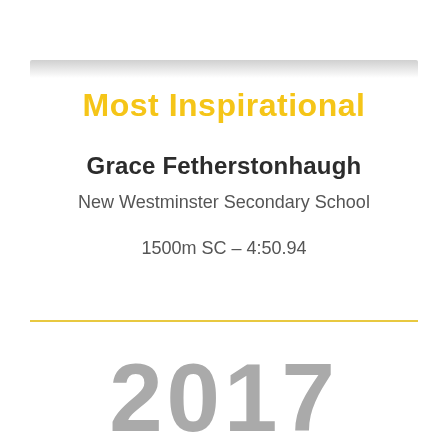Most Inspirational
Grace Fetherstonhaugh
New Westminster Secondary School
1500m SC – 4:50.94
2017